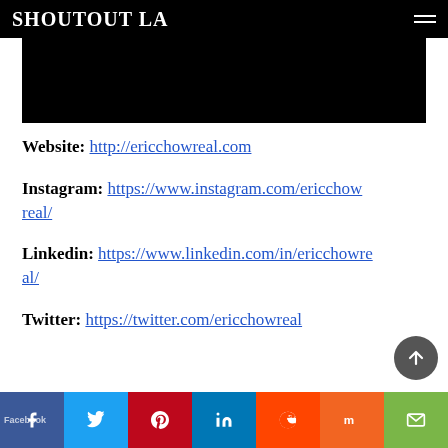SHOUTOUT LA
[Figure (photo): Black image area — top of article photo]
Website: http://ericchowreal.com
Instagram: https://www.instagram.com/ericchowreal/
Linkedin: https://www.linkedin.com/in/ericchowreal/
Twitter: https://twitter.com/ericchowreal
Facebook Twitter Pinterest LinkedIn Reddit Mix Email social share bar